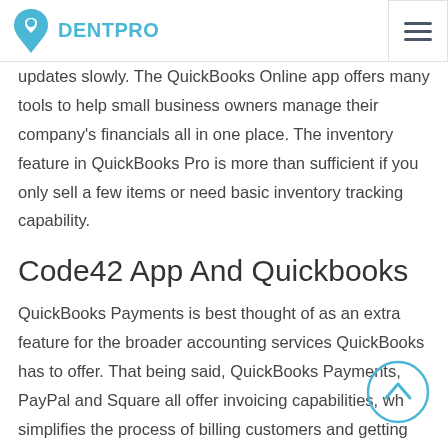DENTPRO
updates slowly. The QuickBooks Online app offers many tools to help small business owners manage their company's financials all in one place. The inventory feature in QuickBooks Pro is more than sufficient if you only sell a few items or need basic inventory tracking capability.
Code42 App And Quickbooks
QuickBooks Payments is best thought of as an extra feature for the broader accounting services QuickBooks has to offer. That being said, QuickBooks Payments, PayPal and Square all offer invoicing capabilities, which simplifies the process of billing customers and getting paid. If you're processing over $15,000 per month, there is